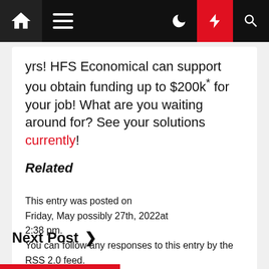Navigation bar with home, menu, moon, lightning, and search icons
yrs! HFS Economical can support you obtain funding up to $200k* for your job! What are you waiting around for? See your solutions currently!
Related
This entry was posted on Friday, May possibly 27th, 2022at 2:38 pm. You can follow any responses to this entry by the RSS 2.0 feed. Both of those comments and pings are at the moment closed.
Next Post >